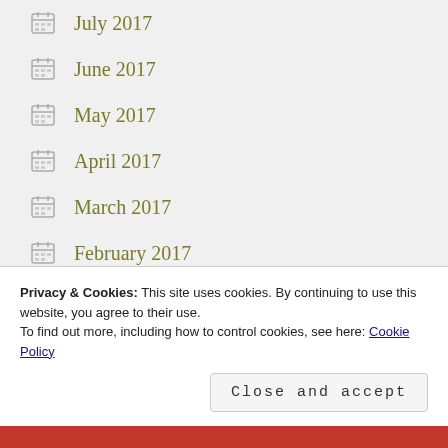July 2017
June 2017
May 2017
April 2017
March 2017
February 2017
December 2016
July 2016
June 2016
May 2016
Privacy & Cookies: This site uses cookies. By continuing to use this website, you agree to their use.
To find out more, including how to control cookies, see here: Cookie Policy
Close and accept